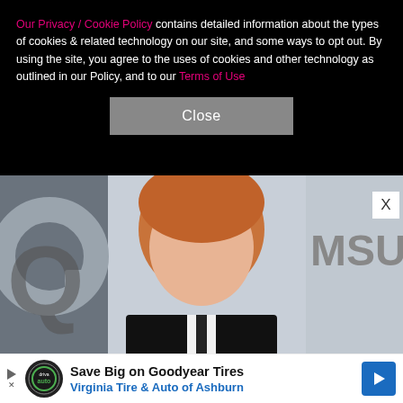Our Privacy / Cookie Policy contains detailed information about the types of cookies & related technology on our site, and some ways to opt out. By using the site, you agree to the uses of cookies and other technology as outlined in our Policy, and to our Terms of Use
[Figure (other): Close button (gray rectangle with white text 'Close') on black cookie consent banner]
[Figure (photo): Portrait photo of a young man with red/auburn hair, blue eyes, wearing a black suit and tie, standing in front of a GQ and Samsung branded backdrop]
[Figure (other): Advertisement banner: 'Save Big on Goodyear Tires - Virginia Tire & Auto of Ashburn' with DrivaAuto logo and blue arrow icon]